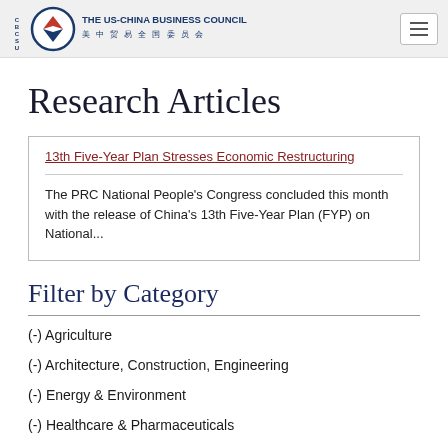THE US-CHINA BUSINESS COUNCIL 美中贸易全国委员会
Research Articles
13th Five-Year Plan Stresses Economic Restructuring
The PRC National People's Congress concluded this month with the release of China's 13th Five-Year Plan (FYP) on National...
Filter by Category
(-) Agriculture
(-) Architecture, Construction, Engineering
(-) Energy & Environment
(-) Healthcare & Pharmaceuticals